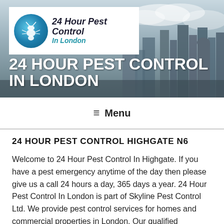[Figure (photo): City skyline background banner with London cityscape, grey/blue tones with cloudy sky]
[Figure (logo): 24 Hour Pest Control In London logo: circular blue icon with ant silhouette, company name in bold italic black and blue italic subtitle]
24 HOUR PEST CONTROL IN LONDON
≡ Menu
24 HOUR PEST CONTROL HIGHGATE N6
Welcome to 24 Hour Pest Control In Highgate. If you have a pest emergency anytime of the day then please give us a call 24 hours a day, 365 days a year. 24 Hour Pest Control In London is part of Skyline Pest Control Ltd. We provide pest control services for homes and commercial properties in London. Our qualified surveyors